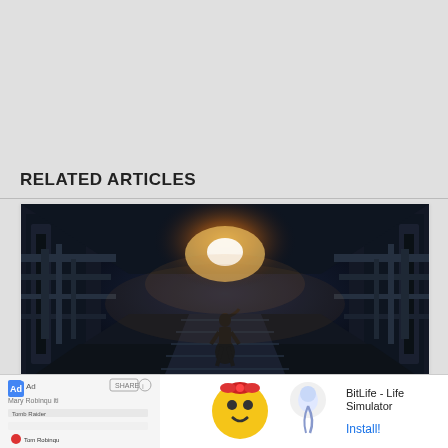RELATED ARTICLES
[Figure (screenshot): Screenshot from a video game showing a character walking through a dark industrial corridor with glowing lights in the distance — appears to be from Shadow of the Tomb Raider or similar game.]
Huge Square Enix Sale: Tomb Raider, Avengers, GotG 90% Off
[Figure (photo): Advertisement banner for BitLife - Life Simulator app, showing colorful game icons including a yellow character with a red bow. Ad label shown with install button.]